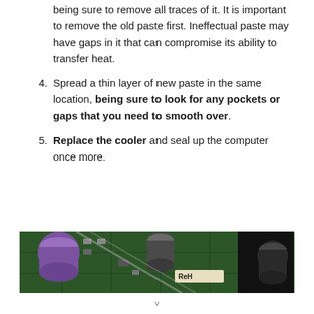being sure to remove all traces of it. It is important to remove the old paste first. Ineffectual paste may have gaps in it that can compromise its ability to transfer heat.
4. Spread a thin layer of new paste in the same location, being sure to look for any pockets or gaps that you need to smooth over.
5. Replace the cooler and seal up the computer once more.
[Figure (photo): Close-up photo of a computer motherboard showing green circuit board components, capacitors, and a heat sink cooler with purple/blue and dark elements]
v